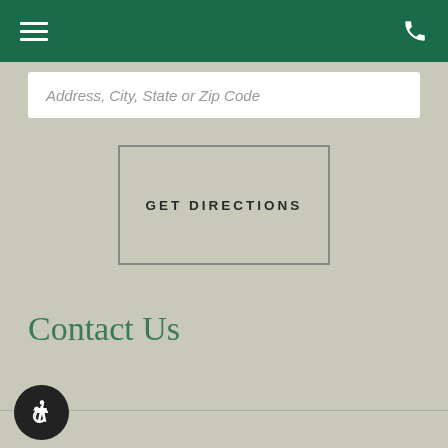Navigation bar with hamburger menu and phone icon
Address, City, State or Zip Code
GET DIRECTIONS
Contact Us
[Figure (illustration): Accessibility wheelchair icon in a dark circular button]